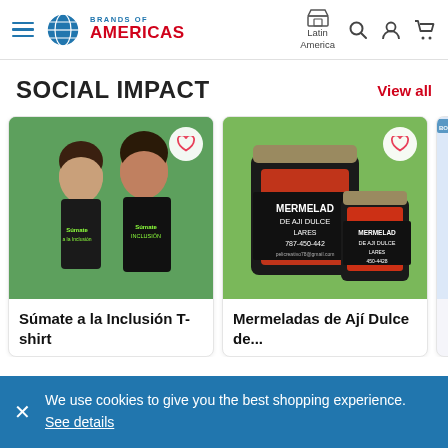[Figure (screenshot): Brands of Americas website header with hamburger menu, globe logo, brand name, Latin America store icon, search, account, and cart icons]
SOCIAL IMPACT
View all
[Figure (photo): Two people wearing black Súmate a la Inclusión T-shirts on a green background with a heart/favorite button]
Súmate a la Inclusión T-shirt
[Figure (photo): Two jars of Mermeladas de Ají Dulce de Lares jam with red jam inside on a natural background with a heart/favorite button]
Mermeladas de Ají Dulce de...
We use cookies to give you the best shopping experience. See details